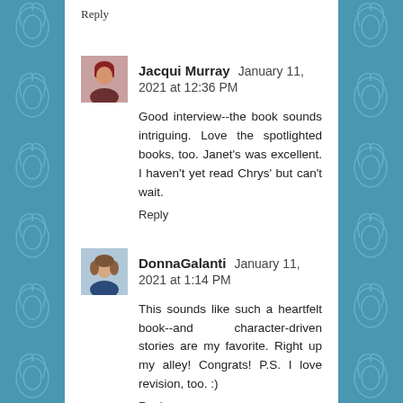Reply
Jacqui Murray  January 11, 2021 at 12:36 PM
Good interview--the book sounds intriguing. Love the spotlighted books, too. Janet's was excellent. I haven't yet read Chrys' but can't wait.
Reply
DonnaGalanti  January 11, 2021 at 1:14 PM
This sounds like such a heartfelt book--and character-driven stories are my favorite. Right up my alley! Congrats! P.S. I love revision, too. :)
Reply
Joanne R. Fritz  January 11, 2021 at 1:49 PM